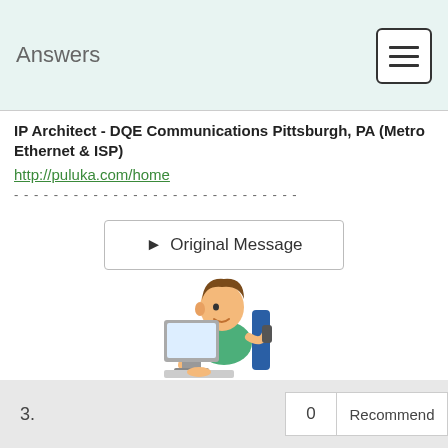Answers
IP Architect - DQE Communications Pittsburgh, PA (Metro Ethernet & ISP)
http://puluka.com/home
[Figure (illustration): Cartoon illustration of a person sitting at a computer desk, using a laptop, partially visible at bottom of page]
3.   0   Recommend